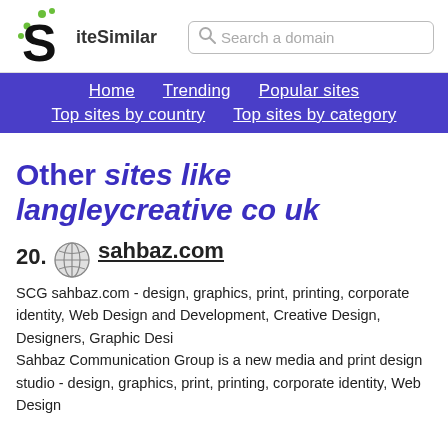[Figure (logo): SiteSimilar logo with stylized S and green dots, plus search bar]
Home  Trending  Popular sites  Top sites by country  Top sites by category
Other sites like langleycreative co uk
20. sahbaz.com
SCG sahbaz.com - design, graphics, print, printing, corporate identity, Web Design and Development, Creative Design, Designers, Graphic Desi
Sahbaz Communication Group is a new media and print design studio - design, graphics, print, printing, corporate identity, Web Design